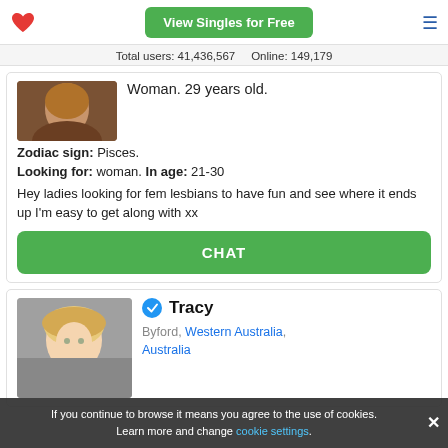View Singles for Free
Total users: 41,436,567   Online: 149,179
Woman. 29 years old.
Zodiac sign: Pisces.
Looking for: woman. In age: 21-30
Hey ladies looking for fem lesbians to have fun and see where it ends up I'm easy to get along with xx
CHAT
Tracy
Byford, Western Australia, Australia
If you continue to browse it means you agree to the use of cookies. Learn more and change cookie settings.